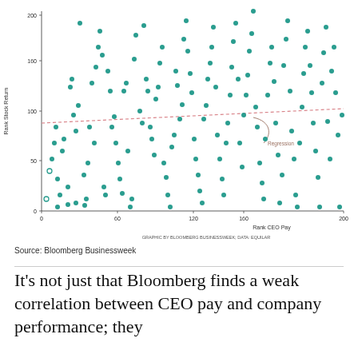[Figure (continuous-plot): Scatter plot of Rank Stock Return (y-axis, 0–200) vs Rank CEO Pay (x-axis, 0–200), showing approximately 150+ data points as teal/green dots scattered with no strong pattern. A dashed pink/red regression line runs nearly flat from about y=90 at x=0 to y=105 at x=200, labeled 'Regression' with an annotation arrow. Y-axis label: 'Rank Stock Return', X-axis label: 'Rank CEO Pay'. Footer: 'GRAPHIC BY BLOOMBERG BUSINESSWEEK; DATA: EQUILAR']
Source: Bloomberg Businessweek
It’s not just that Bloomberg finds a weak correlation between CEO pay and company performance; they